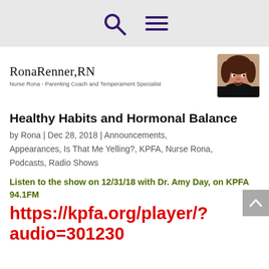Rona Renner, RN — Nurse Rona - Parenting Coach and Temperament Specialist
[Figure (photo): Photo of Rona Renner, a woman with curly dark hair wearing a black jacket]
Healthy Habits and Hormonal Balance
by Rona | Dec 28, 2018 | Announcements, Appearances, Is That Me Yelling?, KPFA, Nurse Rona, Podcasts, Radio Shows
Listen to the show on 12/31/18 with Dr. Amy Day, on KPFA 94.1FM
https://kpfa.org/player/?audio=301230